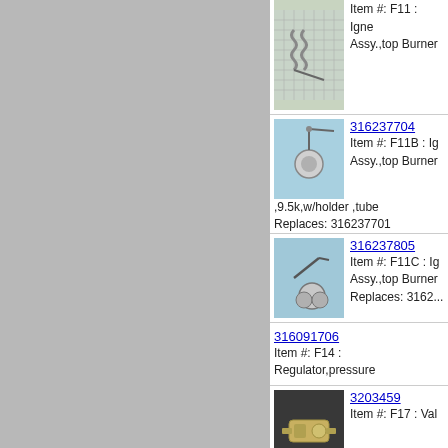[Figure (photo): Part F11 igniter assembly top burner on grid background]
Item #: F11 : Igniter Assy.,top Burner
[Figure (photo): Part 316237704 igniter tube assembly on blue background]
316237704
Item #: F11B : Ig Assy.,top Burner ,9.5k,w/holder ,tube
Replaces: 316237701
[Figure (photo): Part 316237805 igniter assembly on blue background]
316237805
Item #: F11C : Ig Assy.,top Burner
Replaces: 3162...
316091706
Item #: F14 : Regulator,pressure
[Figure (photo): Part 3203459 valve on dark background]
3203459
Item #: F17 : Val
316114300
Item #: F18 : Burner,oven
5303935066